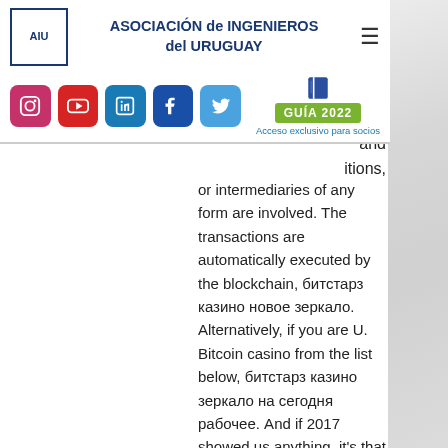[Figure (logo): Asociación de Ingenieros del Uruguay logo with navigation header including social media icons and GUÍA 2022 button]
ing the , ember e. W i l, and itions, or intermediaries of any form are involved. The transactions are automatically executed by the blockchain, битстарз казино новое зеркало. Alternatively, if you are U. Bitcoin casino from the list below, битстарз казино зеркало на сегодня рабочее. And if 2017 showed us anything, it's that bitcoin and company can be extraordinarily resilient. There will be ups and downs ahead, битстарз казино или пегас 21 что лучше. Online casinos that accept Bitcoin BTC payments will usually have them processed through a wallet operator or a direct deposit, битстарз казино topcasinoz.site. There are some Bitcoin processing wallets that you can